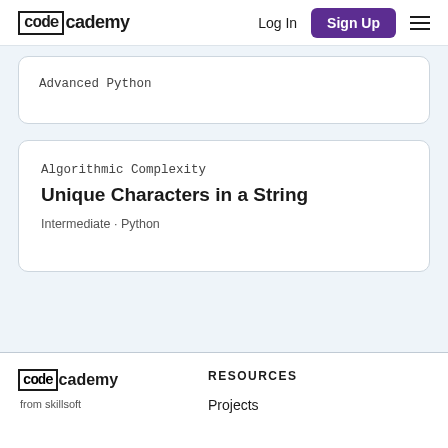Codecademy Log In Sign Up
Advanced Python
Algorithmic Complexity
Unique Characters in a String
Intermediate · Python
Codecademy from skillsoft  RESOURCES  Projects